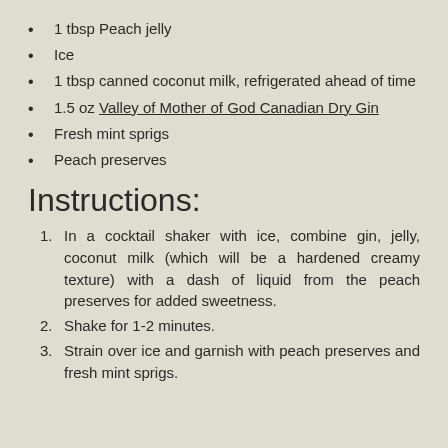1 tbsp Peach jelly
Ice
1 tbsp canned coconut milk, refrigerated ahead of time
1.5 oz Valley of Mother of God Canadian Dry Gin
Fresh mint sprigs
Peach preserves
Instructions:
In a cocktail shaker with ice, combine gin, jelly, coconut milk (which will be a hardened creamy texture) with a dash of liquid from the peach preserves for added sweetness.
Shake for 1-2 minutes.
Strain over ice and garnish with peach preserves and fresh mint sprigs.